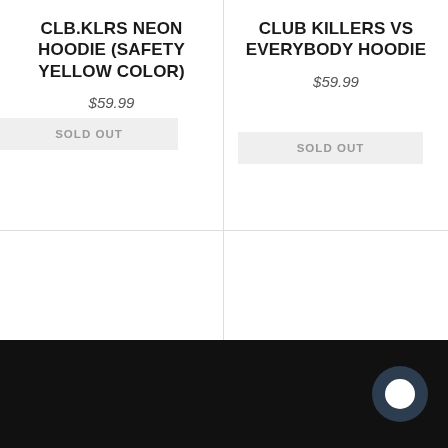CLB.KLRS NEON HOODIE (SAFETY YELLOW COLOR)
$59.99
CLUB KILLERS VS EVERYBODY HOODIE
$59.99
SOLD OUT
SOLD OUT
International dj Alliance Zip Up Sweater
$59.99
Club Killers Official Sweater
$59.99